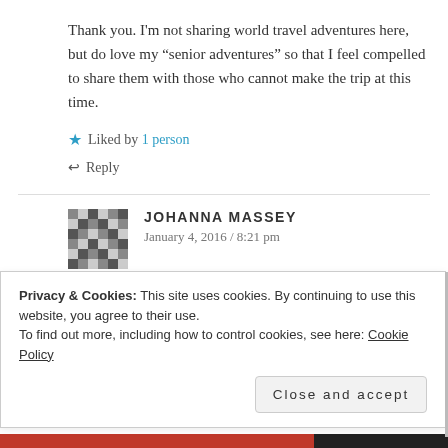Thank you. I'm not sharing world travel adventures here, but do love my “senior adventures” so that I feel compelled to share them with those who cannot make the trip at this time.
★ Liked by 1 person
↩ Reply
JOHANNA MASSEY
January 4, 2016 / 8:21 pm
Privacy & Cookies: This site uses cookies. By continuing to use this website, you agree to their use.
To find out more, including how to control cookies, see here: Cookie Policy
Close and accept